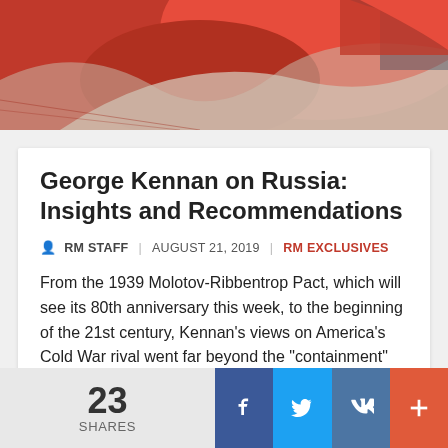[Figure (illustration): Red and cream colored abstract/artistic image, appears to show Soviet-era style graphic art with red dominant colors]
George Kennan on Russia: Insights and Recommendations
RM STAFF | AUGUST 21, 2019 | RM EXCLUSIVES
From the 1939 Molotov-Ribbentrop Pact, which will see its 80th anniversary this week, to the beginning of the 21st century, Kennan's views on America's Cold War rival went far beyond the "containment" policy for which he is perhaps best known.
SHARE [social buttons: Facebook, Twitter, VK, Plus]
23 SHARES [bottom bar social buttons: Facebook, Twitter, VK, Plus]